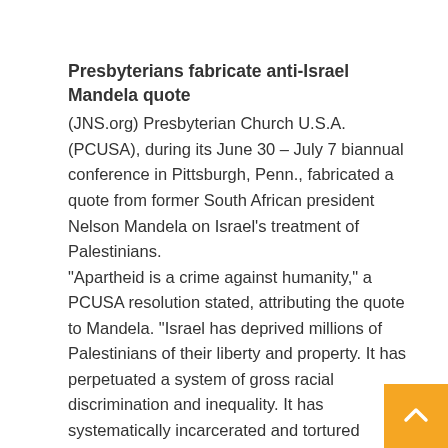Presbyterians fabricate anti-Israel Mandela quote
(JNS.org) Presbyterian Church U.S.A. (PCUSA), during its June 30 – July 7 biannual conference in Pittsburgh, Penn., fabricated a quote from former South African president Nelson Mandela on Israel's treatment of Palestinians. “Apartheid is a crime against humanity,” a PCUSA resolution stated, attributing the quote to Mandela. “Israel has deprived millions of Palestinians of their liberty and property. It has perpetuated a system of gross racial discrimination and inequality. It has systematically incarcerated and tortured thousands of Palestinians, contrary to the rules of international